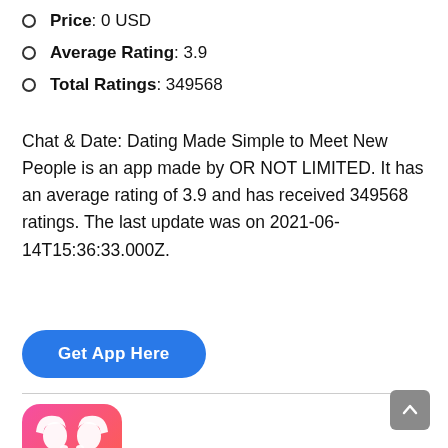Price: 0 USD
Average Rating: 3.9
Total Ratings: 349568
Chat & Date: Dating Made Simple to Meet New People is an app made by OR NOT LIMITED. It has an average rating of 3.9 and has received 349568 ratings. The last update was on 2021-06-14T15:36:33.000Z.
Get App Here
[Figure (logo): App icon with pink-to-red gradient background showing two female silhouettes facing each other forming a heart shape]